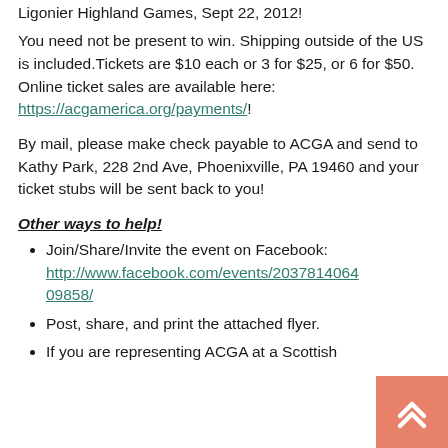Ligonier Highland Games, Sept 22, 2012!
You need not be present to win. Shipping outside of the US is included.Tickets are $10 each or 3 for $25, or 6 for $50. Online ticket sales are available here: https://acgamerica.org/payments/!
By mail, please make check payable to ACGA and send to Kathy Park, 228 2nd Ave, Phoenixville, PA 19460 and your ticket stubs will be sent back to you!
Other ways to help!
Join/Share/Invite the event on Facebook: http://www.facebook.com/events/203781406409858/
Post, share, and print the attached flyer.
If you are representing ACGA at a Scottish